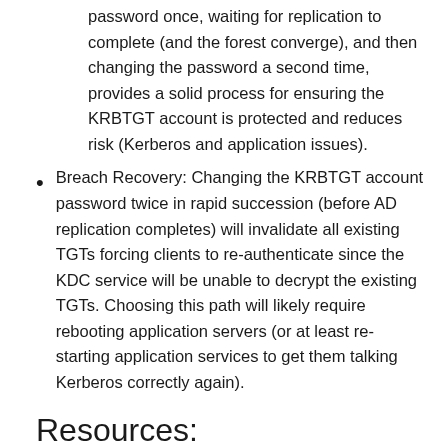password once, waiting for replication to complete (and the forest converge), and then changing the password a second time, provides a solid process for ensuring the KRBTGT account is protected and reduces risk (Kerberos and application issues).
Breach Recovery: Changing the KRBTGT account password twice in rapid succession (before AD replication completes) will invalidate all existing TGTs forcing clients to re-authenticate since the KDC service will be unable to decrypt the existing TGTs. Choosing this path will likely require rebooting application servers (or at least re-starting application services to get them talking Kerberos correctly again).
Resources: